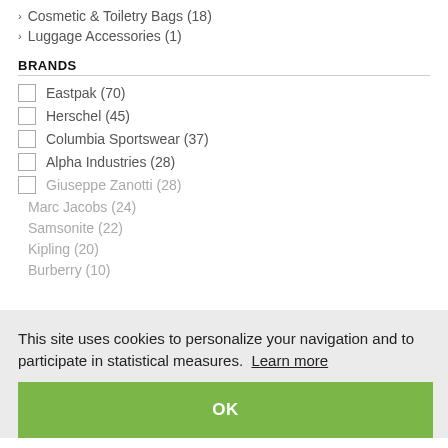> Cosmetic & Toiletry Bags (18)
> Luggage Accessories (1)
BRANDS
Eastpak (70)
Herschel (45)
Columbia Sportswear (37)
Alpha Industries (28)
Giuseppe Zanotti (28)
Marc Jacobs (24)
Samsonite (22)
Kipling (20)
Burberry (10)
This site uses cookies to personalize your navigation and to participate in statistical measures. Learn more
OK
RETAILERS